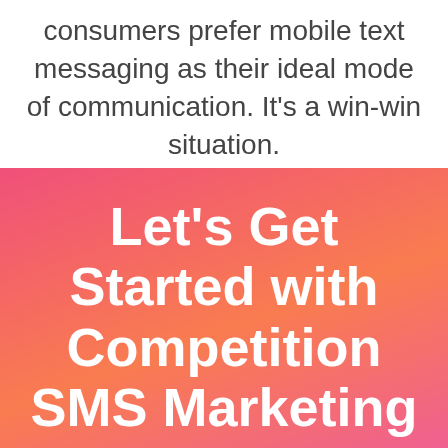consumers prefer mobile text messaging as their ideal mode of communication. It's a win-win situation.
Let's Get Started with Competition SMS Marketing
Contact us at ClickSend today to learn more about how SMS competition solutions can...